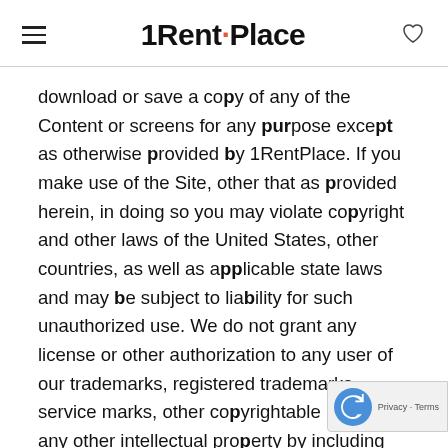1Rent·Place
download or save a copy of any of the Content or screens for any purpose except as otherwise provided by 1RentPlace. If you make use of the Site, other that as provided herein, in doing so you may violate copyright and other laws of the United States, other countries, as well as applicable state laws and may be subject to liability for such unauthorized use. We do not grant any license or other authorization to any user of our trademarks, registered trademarks, service marks, other copyrightable material, any other intellectual property by including on the Site.